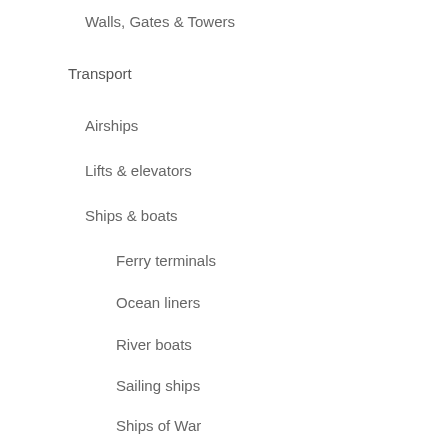Walls, Gates & Towers
Transport
Airships
Lifts & elevators
Ships & boats
Ferry terminals
Ocean liners
River boats
Sailing ships
Ships of War
Ships: Interiors
Steamers
Tugs
Trains & Railways
Cable railways
Train stations